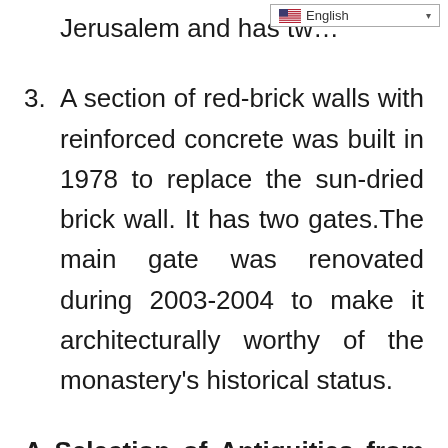[Figure (screenshot): Language selector dropdown showing English with a US flag icon]
Jerusalem and has tw…
3. A section of red-brick walls with reinforced concrete was built in 1978 to replace the sun-dried brick wall. It has two gates.The main gate was renovated during 2003-2004 to make it architecturally worthy of the monastery's historical status.
A Selection of Antiquities from the Monastery's Collection
Some of the notable antiquities found in the monastery are as follows (fig. 26.6):